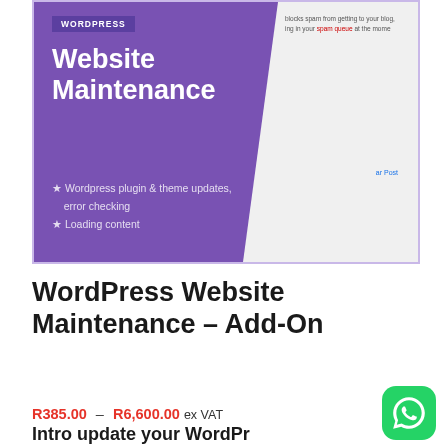[Figure (illustration): WordPress Website Maintenance product image with purple background, diagonal white cutout showing spam queue screenshot, WORDPRESS badge, bold white title 'Website Maintenance', and bullet points listing features: Wordpress plugin & theme updates, error checking; Loading content]
WordPress Website Maintenance – Add-On
R385.00 – R6,600.00 ex VAT
Intro update your WordPr...